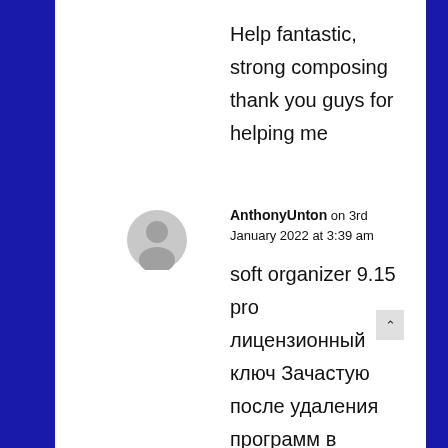Help fantastic, strong composing thank you guys for helping me
AnthonyUnton on 3rd January 2022 at 3:39 am
soft organizer 9.15 pro лицензионный ключ Зачастую после удаления программ в системе остаются следы от них: ненужные файлы и папки на дисках и